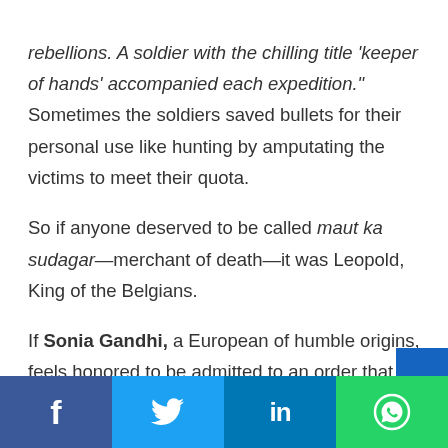rebellions. A soldier with the chilling title 'keeper of hands' accompanied each expedition." Sometimes the soldiers saved bullets for their personal use like hunting by amputating the victims to meet their quota.

So if anyone deserved to be called maut ka sudagar—merchant of death—it was Leopold, King of the Belgians.

If Sonia Gandhi, a European of humble origins, feels honored to be admitted to an order that carries t
Facebook | Twitter | LinkedIn | WhatsApp